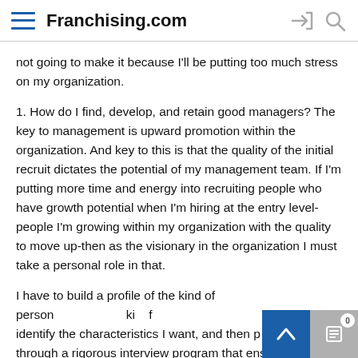Franchising.com
not going to make it because I'll be putting too much stress on my organization.
1. How do I find, develop, and retain good managers? The key to management is upward promotion within the organization. And key to this is that the quality of the initial recruit dictates the potential of my management team. If I'm putting more time and energy into recruiting people who have growth potential when I'm hiring at the entry level-people I'm growing within my organization with the quality to move up-then as the visionary in the organization I must take a personal role in that.
I have to build a profile of the kind of person that I'm looking for, identify the characteristics I want, and then put them through a rigorous interview program that ensures it's not